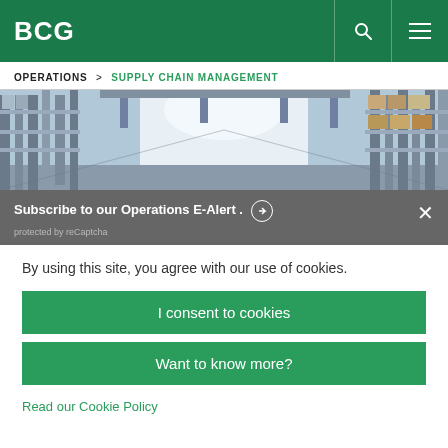BCG
OPERATIONS > SUPPLY CHAIN MANAGEMENT
[Figure (photo): Interior of a warehouse with shelves stacked with goods, bright lighting in the center corridor]
Subscribe to our Operations E-Alert. →
protected by reCaptcha
By using this site, you agree with our use of cookies.
I consent to cookies
Want to know more?
Read our Cookie Policy